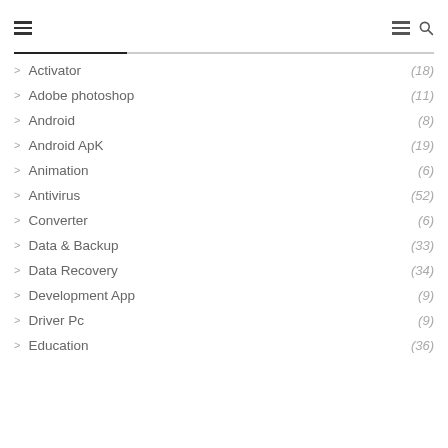Navigation header with hamburger menus and search icon
> Activator (18)
> Adobe photoshop (11)
> Android (8)
> Android ApK (19)
> Animation (6)
> Antivirus (52)
> Converter (6)
> Data & Backup (33)
> Data Recovery (34)
> Development App (9)
> Driver Pc (9)
> Education (36)